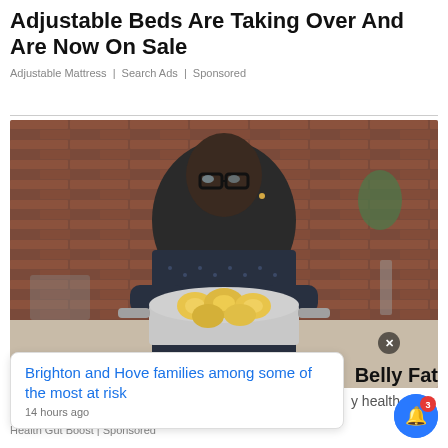Adjustable Beds Are Taking Over And Are Now On Sale
Adjustable Mattress | Search Ads | Sponsored
[Figure (photo): A man wearing large black-framed glasses and a dark dotted shirt holding a silver pot filled with lemon slices in what appears to be a kitchen setting with brick walls.]
Brighton and Hove families among some of the most at risk
14 hours ago
Belly Fat
y health
Health Gut Boost | Sponsored